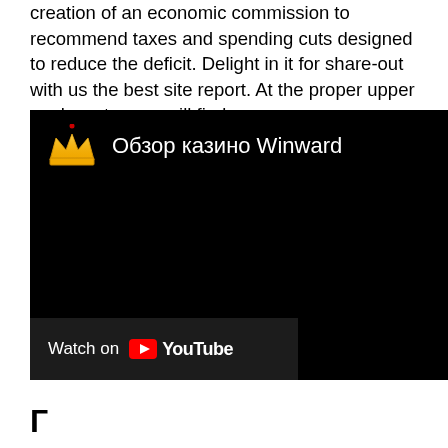creation of an economic commission to recommend taxes and spending cuts designed to reduce the deficit. Delight in it for share-out with us the best site report. At the proper upper nook customers will find menu.
[Figure (screenshot): Embedded YouTube video thumbnail with black background showing crown emoji icon and title 'Обзор казино Winward' in white text. Bottom left has a 'Watch on YouTube' bar with YouTube logo.]
Г